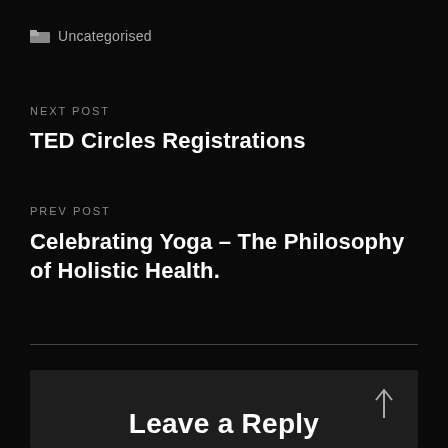Uncategorised
NEXT POST
TED Circles Registrations
PREV POST
Celebrating Yoga – The Philosophy of Holistic Health.
Leave a Reply